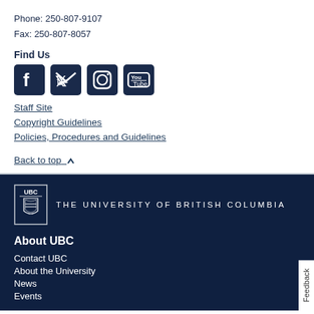Phone: 250-807-9107
Fax: 250-807-8057
Find Us
[Figure (other): Social media icons: Facebook, Twitter, Instagram, YouTube]
Staff Site
Copyright Guidelines
Policies, Procedures and Guidelines
Back to top ∧
[Figure (logo): UBC logo with shield and text THE UNIVERSITY OF BRITISH COLUMBIA]
About UBC
Contact UBC
About the University
News
Events